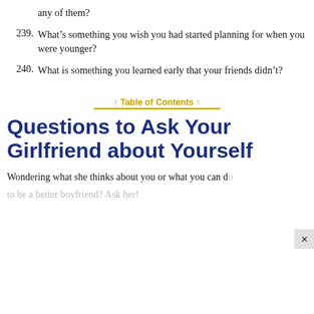any of them?
239. What’s something you wish you had started planning for when you were younger?
240. What is something you learned early that your friends didn’t?
↑ Table of Contents ↑
Questions to Ask Your Girlfriend about Yourself
Wondering what she thinks about you or what you can do to be a better boyfriend? Ask her!